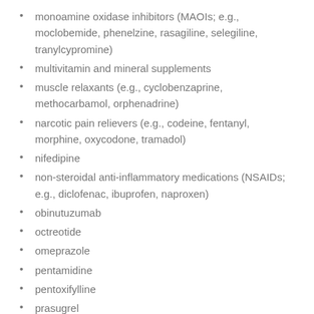monoamine oxidase inhibitors (MAOIs; e.g., moclobemide, phenelzine, rasagiline, selegiline, tranylcypromine)
multivitamin and mineral supplements
muscle relaxants (e.g., cyclobenzaprine, methocarbamol, orphenadrine)
narcotic pain relievers (e.g., codeine, fentanyl, morphine, oxycodone, tramadol)
nifedipine
non-steroidal anti-inflammatory medications (NSAIDs; e.g., diclofenac, ibuprofen, naproxen)
obinutuzumab
octreotide
omeprazole
pentamidine
pentoxifylline
prasugrel
primaquine